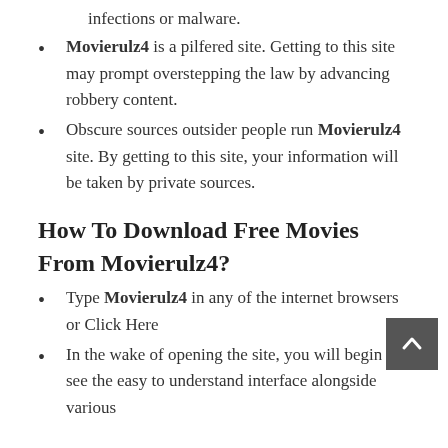infections or malware.
Movierulz4 is a pilfered site. Getting to this site may prompt overstepping the law by advancing robbery content.
Obscure sources outsider people run Movierulz4 site. By getting to this site, your information will be taken by private sources.
How To Download Free Movies From Movierulz4?
Type Movierulz4 in any of the internet browsers or Click Here
In the wake of opening the site, you will begin to see the easy to understand interface alongside various